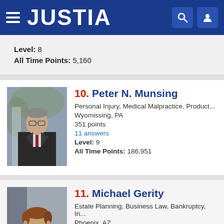[Figure (screenshot): Justia website header with hamburger menu, logo, search and user icons on dark blue background]
Level: 8
All Time Points: 5,160
10. Peter N. Munsing
Personal Injury, Medical Malpractice, Product...
Wyomissing, PA
351 points
11 answers
Level: 9
All Time Points: 186,951
11. Michael Gerity
Estate Planning, Business Law, Bankruptcy, In...
Phoenix, AZ
326 points
7 answers
Level: 5
All Time Points: 3,825